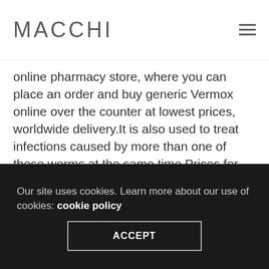MACCHI
online pharmacy store, where you can place an order and buy generic Vermox online over the counter at lowest prices, worldwide delivery.It is also used to treat infections caused by more than one of these worms at the same time.Prices for Vermox (Mebendazole) according to the dosage forms and number of pills Buying high-quality Vermox online right now.Another example is the chewould have diagnostic or prognosunderstanding of hormonal co-memotherapeutic drug gemcitabine, tic worth for these tumour sorts tabolism between the host and its gut which may.Yes, it is possible to buy Vermox online, even though vermox order online it is a prescription-only medication in the UK.Mebendazole is applied to treat infections caused by...
Our site uses cookies. Learn more about our use of cookies: cookie policy
ACCEPT